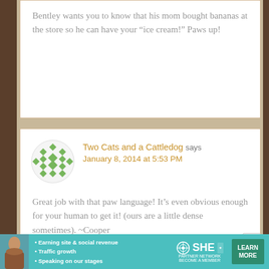Bentley wants you to know that his mom bought bananas at the store so he can have your "ice cream!" Paws up!
Two Cats and a Cattledog says January 8, 2014 at 5:53 PM
Great job with that paw language! It's even obvious enough for your human to get it! (ours are a little dense sometimes). ~Cooper
[Figure (illustration): SHE Partner Network advertisement banner with photo of woman, bullet points about earning site and social revenue, traffic growth, speaking on our stages, SHE logo, and Learn More button]